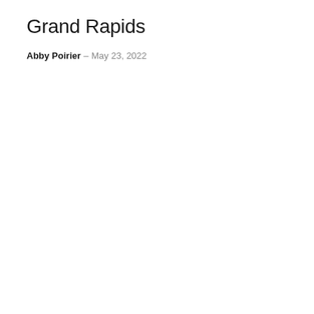Grand Rapids
Abby Poirier – May 23, 2022